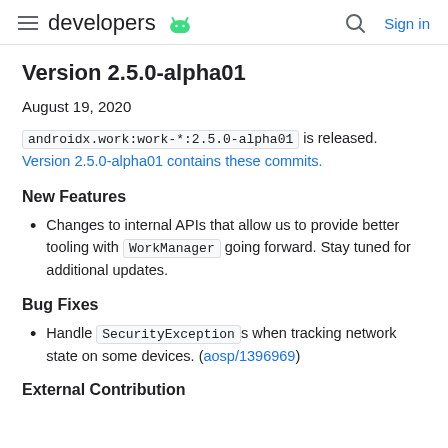developers | Sign in
Version 2.5.0-alpha01
August 19, 2020
androidx.work:work-*:2.5.0-alpha01 is released. Version 2.5.0-alpha01 contains these commits.
New Features
Changes to internal APIs that allow us to provide better tooling with WorkManager going forward. Stay tuned for additional updates.
Bug Fixes
Handle SecurityException s when tracking network state on some devices. (aosp/1396969)
External Contribution